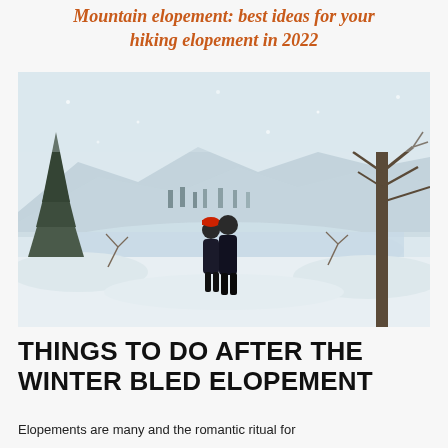Mountain elopement: best ideas for your hiking elopement in 2022
[Figure (photo): A couple standing together in a snowy winter landscape near a frozen lake, surrounded by bare trees and evergreens, with snow-covered mountains and a village visible in the misty background.]
THINGS TO DO AFTER THE WINTER BLED ELOPEMENT
Elopements are many and the romantic ritual for